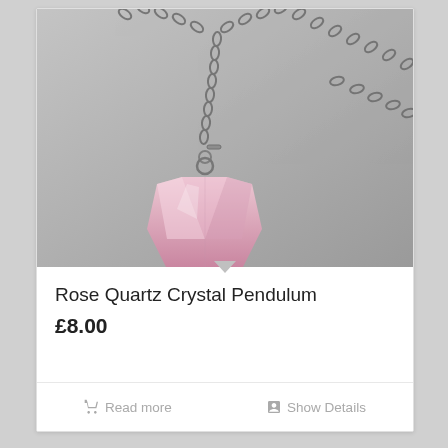[Figure (photo): A rose quartz crystal pendulum with a faceted pink stone hanging from a silver metal chain, photographed against a grey background.]
Rose Quartz Crystal Pendulum
£8.00
Read more
Show Details